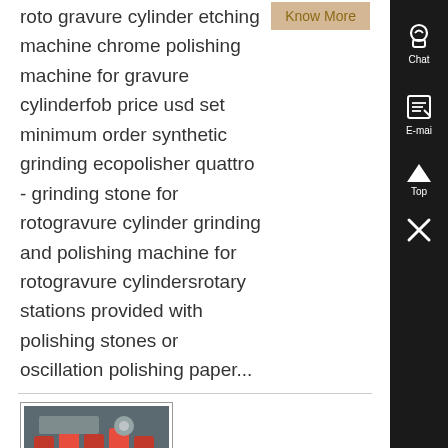roto gravure cylinder etching machine chrome polishing machine for gravure cylinderfob price usd set minimum order synthetic grinding ecopolisher quattro - grinding stone for rotogravure cylinder grinding and polishing machine for rotogravure cylindersrotary stations provided with polishing stones or oscillation polishing paper...
[Figure (photo): Product thumbnail showing industrial grinding machinery with orange/red colored components]
grinding wheel with shaft
Crankshaft grinders - Reconditioning journals and , Crankshaft Grinder Top performing grinding machines which, apart from fast hydraulic to-and-from movements of the grinding wheel, also